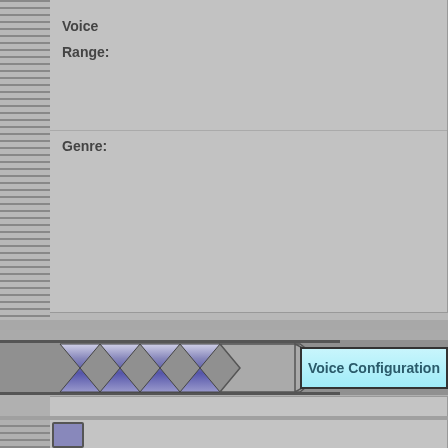Voice
Range:
Genre:
Voice Configuration
Voicebank cannot be shared due to the creator's desicion